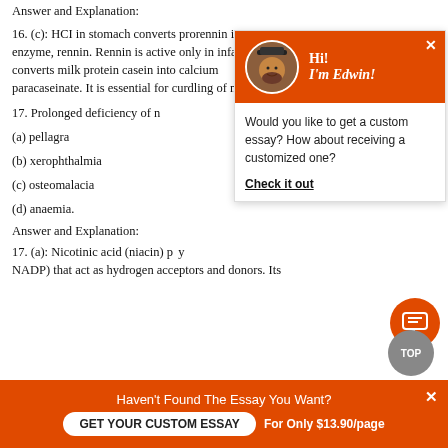Answer and Explanation:
16. (c): HCI in stomach converts prorennin into active enzyme, rennin. Rennin is active only in infants. It converts milk protein casein into calcium paracaseinate. It is essential for curdling of milk.
17. Prolonged deficiency of n
(a) pellagra
(b) xerophthalmia
(c) osteomalacia
(d) anaemia.
Answer and Explanation:
17. (a): Nicotinic acid (niacin) NADP) that act as hydrogen acceptors and donors. Its
[Figure (screenshot): Chat widget with orange header showing avatar of bearded man, text 'Hi! I'm Edwin!', and body text 'Would you like to get a custom essay? How about receiving a customized one?' with 'Check it out' link]
Haven't Found The Essay You Want? GET YOUR CUSTOM ESSAY For Only $13.90/page